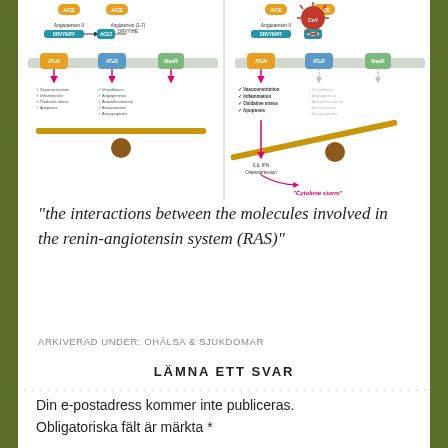[Figure (schematic): Two-panel diagram showing the renin-angiotensin system (RAS) balance. Left panel shows normal RAS balance with ACE/Angiotensin II/AT1R on one side and AT2R/MasR on the other, balanced on a scale. Right panel shows SARS-CoV-2 virus disrupting the balance, with vasoconstriction, inflammation, oxidative stress, and apoptosis listed, and the scale tipped, leading to IL6/IFN overexpression and a 'Cytokine storm' annotation.]
“the interactions between the molecules involved in the renin-angiotensin system (RAS)”
ARKIVERAD UNDER: OHÄLSA & SJUKDOMAR
LÄMNA ETT SVAR
Din e-postadress kommer inte publiceras.
Obligatoriska fält är märkta *